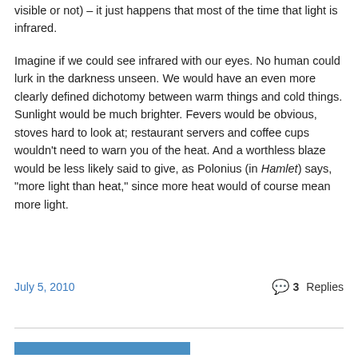visible or not) – it just happens that most of the time that light is infrared.
Imagine if we could see infrared with our eyes. No human could lurk in the darkness unseen. We would have an even more clearly defined dichotomy between warm things and cold things. Sunlight would be much brighter. Fevers would be obvious, stoves hard to look at; restaurant servers and coffee cups wouldn't need to warn you of the heat. And a worthless blaze would be less likely said to give, as Polonius (in Hamlet) says, “more light than heat,” since more heat would of course mean more light.
July 5, 2010   3 Replies